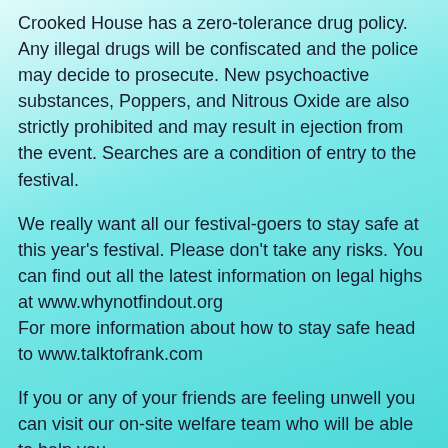Crooked House has a zero-tolerance drug policy. Any illegal drugs will be confiscated and the police may decide to prosecute. New psychoactive substances, Poppers, and Nitrous Oxide are also strictly prohibited and may result in ejection from the event. Searches are a condition of entry to the festival.
We really want all our festival-goers to stay safe at this year's festival. Please don't take any risks. You can find out all the latest information on legal highs at www.whynotfindout.org
For more information about how to stay safe head to www.talktofrank.com
If you or any of your friends are feeling unwell you can visit our on-site welfare team who will be able to help you.
What to do in an Emergency
If you witness or are a victim of a crime at the event, please